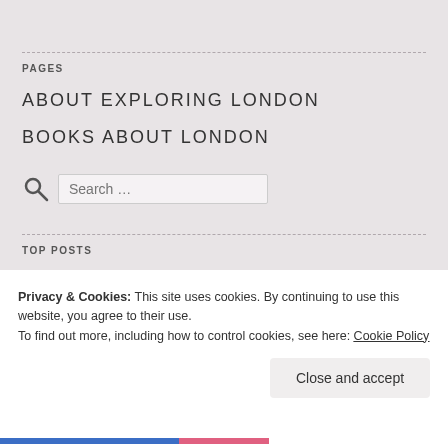PAGES
ABOUT EXPLORING LONDON
BOOKS ABOUT LONDON
TOP POSTS
10 unusual parks or gardens in London, & Barbican
Privacy & Cookies: This site uses cookies. By continuing to use this website, you agree to their use. To find out more, including how to control cookies, see here: Cookie Policy
Close and accept